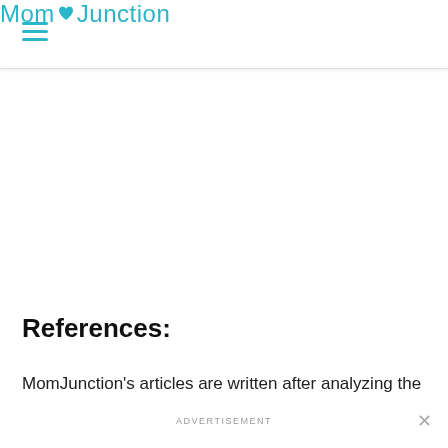Mom Junction
References:
MomJunction's articles are written after analyzing the
ADVERTISEMENT